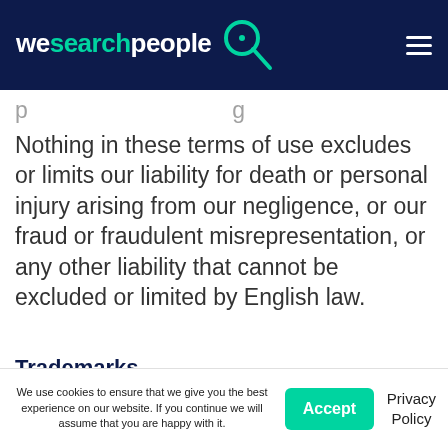wesearchpeople
Nothing in these terms of use excludes or limits our liability for death or personal injury arising from our negligence, or our fraud or fraudulent misrepresentation, or any other liability that cannot be excluded or limited by English law.
Trademarks
We use cookies to ensure that we give you the best experience on our website. If you continue we will assume that you are happy with it.